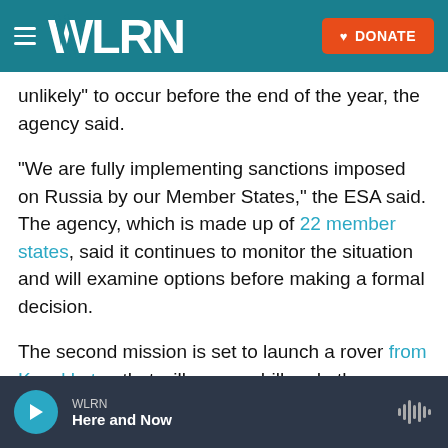WLRN | DONATE
unlikely to occur before the end of the year, the agency said.
"We are fully implementing sanctions imposed on Russia by our Member States," the ESA said. The agency, which is made up of 22 member states, said it continues to monitor the situation and will examine options before making a formal decision.
The second mission is set to launch a rover from Kazakhstan that will carry a drill and other equipment related to exobiology and geochemistry — fields concerned with searching for life outside Earth and the chemical composition of Earth's rocks
WLRN | Here and Now